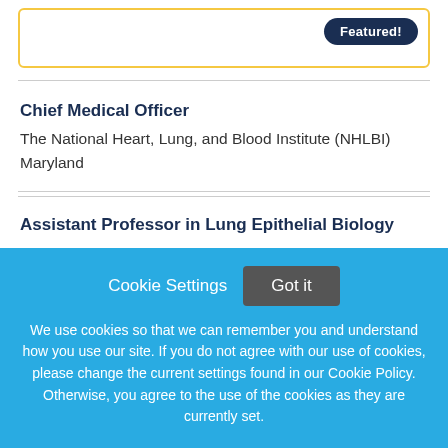[Figure (other): Top card with yellow border and Featured! badge button in dark navy]
Chief Medical Officer
The National Heart, Lung, and Blood Institute (NHLBI)
Maryland
Assistant Professor in Lung Epithelial Biology
Cookie Settings  Got it

We use cookies so that we can remember you and understand how you use our site. If you do not agree with our use of cookies, please change the current settings found in our Cookie Policy. Otherwise, you agree to the use of the cookies as they are currently set.